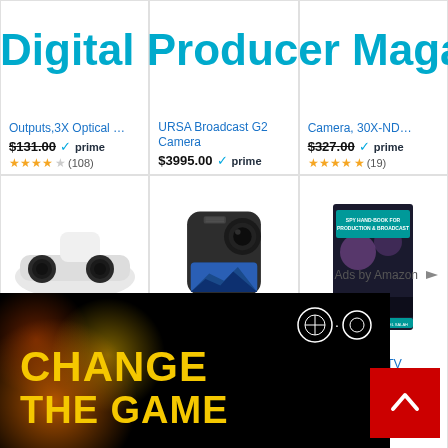Digital Producer Magazine
Outputs,3X Optical … | URSA Broadcast G2 Camera | Camera, 30X-ND…
$131.00 prime | $3995.00 prime | $327.00 prime
★★★★☆ (108) | $3995.00 prime | ★★★★½ (19)
[Figure (photo): Sony PlayStation HD Camera, Black — dual-lens camera peripheral]
[Figure (photo): GoPro MAX action camera — rounded square device with 360 lens]
[Figure (photo): Handbook for TV Production & Broadcasting — book cover with dark stage/concert imagery]
Playstation HD Camera, Black
$58.93 prime ★★★★½ (4151)
GoPro MAX — Waterproof 360 + …
$499.99 prime ★★★★½ (281)
Handbook for TV Production & Bro…
$9.99 ★★★★★ (1)
Ads by Amazon
[Figure (photo): Advertisement banner — black background with orange/yellow bokeh lights, Axiom logo circles top right, yellow text 'CHANGE THE GAME']
[Figure (other): Red scroll-to-top button with white upward chevron arrow]